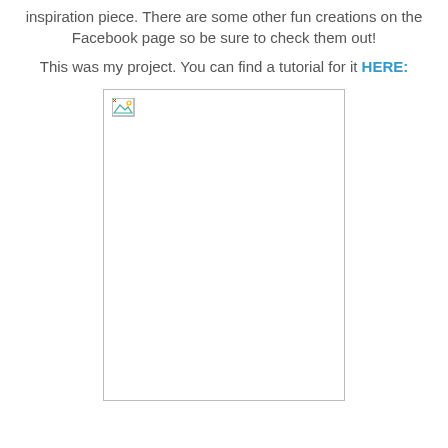inspiration piece.  There are some other fun creations on the Facebook page so be sure to check them out!
This was my project.  You can find a tutorial for it HERE:
[Figure (photo): Broken/missing image placeholder with small image icon in top-left corner, white rectangle with grey border]